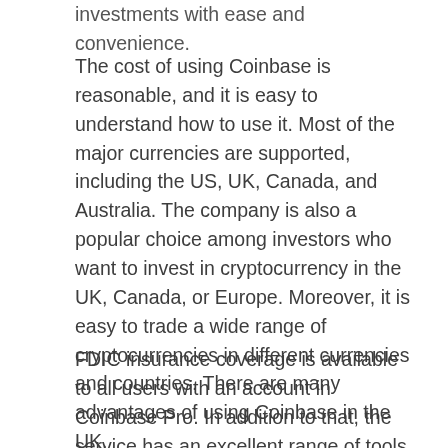investments with ease and convenience.
The cost of using Coinbase is reasonable, and it is easy to understand how to use it. Most of the major currencies are supported, including the US, UK, Canada, and Australia. The company is also a popular choice among investors who want to invest in cryptocurrency in the UK, Canada, or Europe. Moreover, it is easy to trade a wide range of cryptocurrencies in different currencies and countries. There are many advantages of using Coinbase in the UK.
FDIC insurance coverage is available to all users with an account in Coinbase Pro. In addition to that, the service has an excellent range of tools for cryptocurrency trading. In addition, the fees are